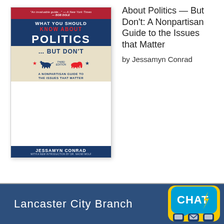[Figure (illustration): Book cover of 'What You Should Know About Politics — But Don't: A Nonpartisan Guide to the Issues that Matter, Third Edition' by Jessamyn Conrad, with introduction by Dr. Naomi Wolf. Red, white, and blue design with donkey and elephant symbols.]
What You Should Know About Politics — But Don't: A Nonpartisan Guide to the Issues that Matter
by Jessamyn Conrad
Lancaster City Branch